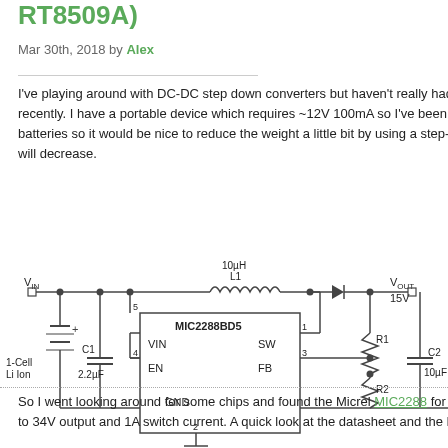RT8509A)
Mar 30th, 2018 by Alex
I've playing around with DC-DC step down converters but haven't really had a need for one until recently. I have a portable device which requires ~12V 100mA so I've been powering it from 8 AA batteries so it would be nice to reduce the weight a little bit by using a step-up converter so the BOM will decrease.
[Figure (circuit-diagram): Schematic of MIC2288BD5 boost converter circuit. Shows 1-Cell Li Ion battery input (VIN), C1 2.2µF capacitor, L1 10µH inductor, MIC2288BD5 IC with pins VIN(5), SW(1), EN(4), FB(3), GND(2), diode, R1 and R2 feedback resistors, C2 10µF output capacitor, VOUT 15V output. Partially visible efficiency chart on the right showing EFFICIENCY (%) vs current, labeled '15' at top, y-axis from 60 to 90%.]
So I went looking around for some chips and found the Micrel MIC2288 for 90c which supports up to 34V output and 1A switch current. A quick look at the datasheet and the BOM